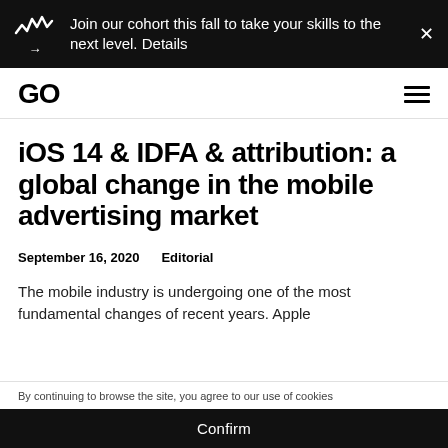Join our cohort this fall to take your skills to the next level. Details →
GO
iOS 14 & IDFA & attribution: a global change in the mobile advertising market
September 16, 2020    Editorial
The mobile industry is undergoing one of the most fundamental changes of recent years. Apple
By continuing to browse the site, you agree to our use of cookies
Confirm